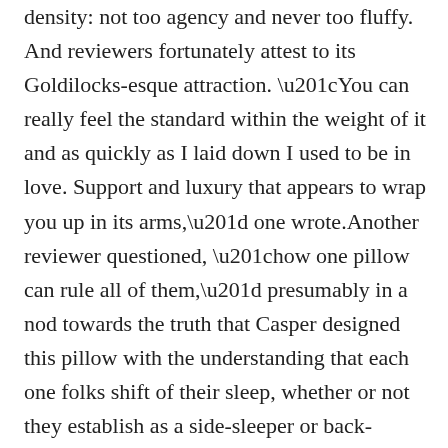density: not too agency and never too fluffy. And reviewers fortunately attest to its Goldilocks-esque attraction. “You can really feel the standard within the weight of it and as quickly as I laid down I used to be in love. Support and luxury that appears to wrap you up in its arms,” one wrote.Another reviewer questioned, “how one pillow can rule all of them,” presumably in a nod towards the truth that Casper designed this pillow with the understanding that each one folks shift of their sleep, whether or not they establish as a side-sleeper or back-sleeper. In different phrases, this pillow is within the operating for general crowd-pleaser — one draw back could also be the truth that you must purchase pillow circumstances individually.